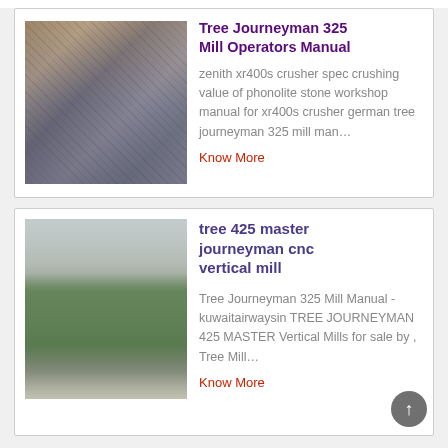Tree Journeyman 325 Mill Operators Manual
[Figure (photo): Photo of industrial machinery or mill equipment with scaffolding and structural components visible]
zenith xr400s crusher spec crushing value of phonolite stone workshop manual for xr400s crusher german tree journeyman 325 mill man…
Know More
tree 425 master journeyman cnc vertical mill
[Figure (photo): Photo of a green industrial container or hopper structure outdoors on a concrete surface]
Tree Journeyman 325 Mill Manual - kuwaitairwaysin TREE JOURNEYMAN 425 MASTER Vertical Mills for sale by , Tree Mill…
Know More